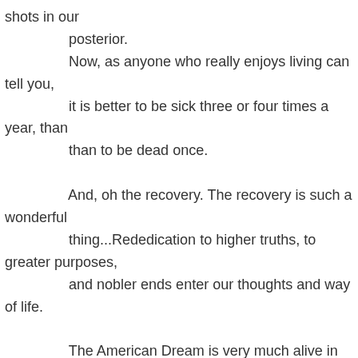shots in our posterior. Now, as anyone who really enjoys living can tell you, it is better to be sick three or four times a year, than than to be dead once.

And, oh the recovery. The recovery is such a wonderful thing...Rededication to higher truths, to greater purposes, and nobler ends enter our thoughts and way of life.

The American Dream is very much alive in us and in our children and it shall continue to be for as long as each generation, is willing to pass that dream